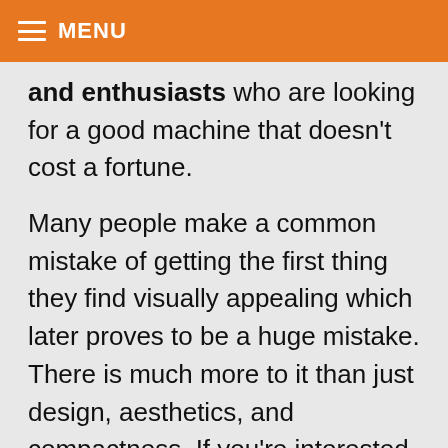MENU
and enthusiasts who are looking for a good machine that doesn't cost a fortune.

Many people make a common mistake of getting the first thing they find visually appealing which later proves to be a huge mistake. There is much more to it than just design, aesthetics, and compactness. If you're interested in getting a better insight into the capabilities of this particular unit,